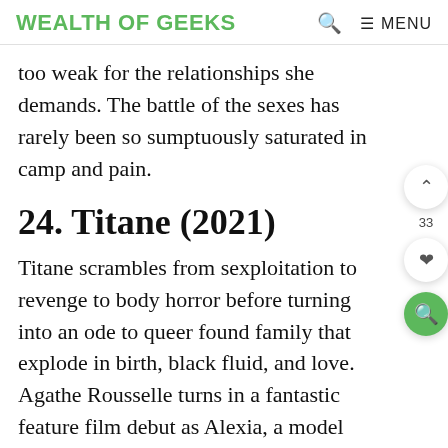WEALTH OF GEEKS   🔍   ≡ MENU
too weak for the relationships she demands. The battle of the sexes has rarely been so sumptuously saturated in camp and pain.
24. Titane (2021)
Titane scrambles from sexploitation to revenge to body horror before turning into an ode to queer found family that explodes in birth, black fluid, and love. Agathe Rousselle turns in a fantastic feature film debut as Alexia, a model impregnated by a car who murders everyone who has sex with her and escapes into another gender. This is